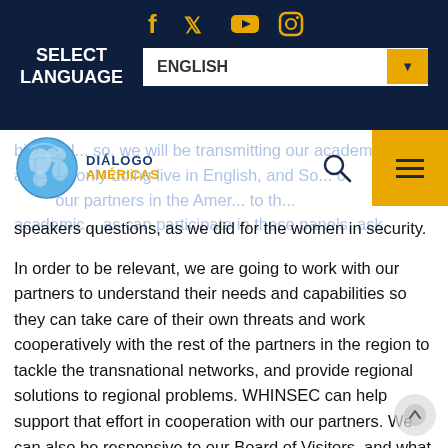Social media icons: Facebook, Twitter, YouTube, Instagram
SELECT LANGUAGE
[Figure (logo): Diálogo Américas globe logo with blue and yellow text]
bilingual... so, we will be transmitting our academic... all the... only doing live in English, and So... our partners in the Amer... to th... academic ... as can participate in those panels, ask speakers questions, as we did for the women in security.
In order to be relevant, we are going to work with our partners to understand their needs and capabilities so they can take care of their own threats and work cooperatively with the rest of the partners in the region to tackle the transnational networks, and provide regional solutions to regional problems. WHINSEC can help support that effort in cooperation with our partners. We can also be responsive to our Board of Visitors, and what Washington wants us to do in order to advance the interests of the United States. So, it's a balance between what the region needs and what our stakeholders